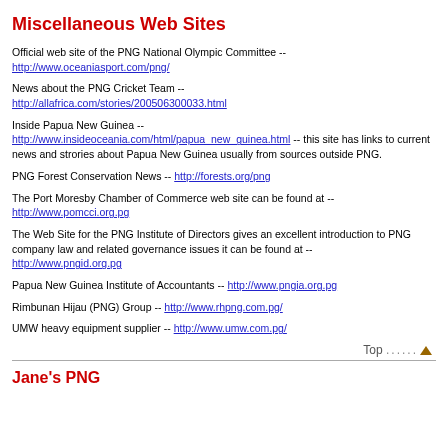Miscellaneous Web Sites
Official web site of the PNG National Olympic Committee -- http://www.oceaniasport.com/png/
News about the PNG Cricket Team -- http://allafrica.com/stories/200506300033.html
Inside Papua New Guinea -- http://www.insideoceania.com/html/papua_new_guinea.html -- this site has links to current news and strories about Papua New Guinea usually from sources outside PNG.
PNG Forest Conservation News -- http://forests.org/png
The Port Moresby Chamber of Commerce web site can be found at -- http://www.pomcci.org.pg
The Web Site for the PNG Institute of Directors gives an excellent introduction to PNG company law and related governance issues it can be found at -- http://www.pngid.org.pg
Papua New Guinea Institute of Accountants -- http://www.pngia.org.pg
Rimbunan Hijau (PNG) Group -- http://www.rhpng.com.pg/
UMW heavy equipment supplier -- http://www.umw.com.pg/
Top
Jane's PNG